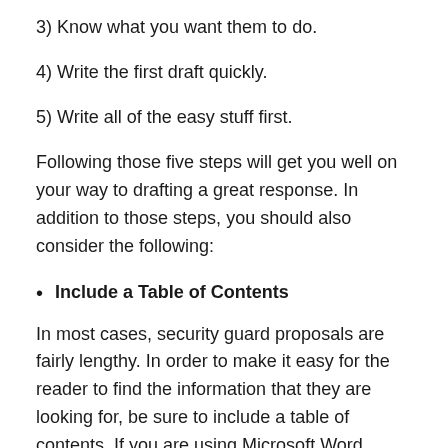3) Know what you want them to do.
4) Write the first draft quickly.
5) Write all of the easy stuff first.
Following those five steps will get you well on your way to drafting a great response. In addition to those steps, you should also consider the following:
Include a Table of Contents
In most cases, security guard proposals are fairly lengthy. In order to make it easy for the reader to find the information that they are looking for, be sure to include a table of contents. If you are using Microsoft Word, adding a table of